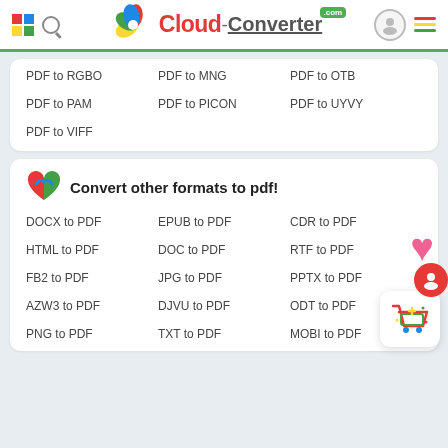Cloud-Converter.com
PDF to RGBO
PDF to MNG
PDF to OTB
PDF to PAM
PDF to PICON
PDF to UYVY
PDF to VIFF
Convert other formats to pdf!
DOCX to PDF
EPUB to PDF
CDR to PDF
HTML to PDF
DOC to PDF
RTF to PDF
FB2 to PDF
JPG to PDF
PPTX to PDF
AZW3 to PDF
DJVU to PDF
ODT to PDF
PNG to PDF
TXT to PDF
MOBI to PDF